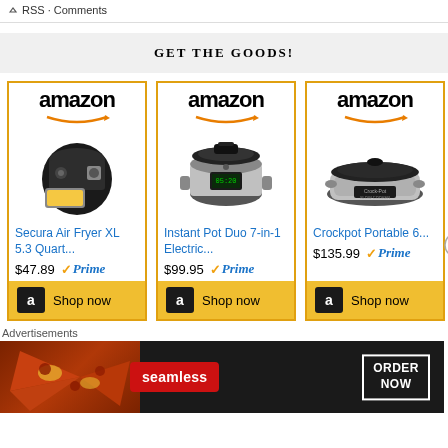RSS · Comments
GET THE GOODS!
[Figure (screenshot): Amazon product card for Secura Air Fryer XL 5.3 Quart... priced at $47.89 with Prime, Shop now button]
[Figure (screenshot): Amazon product card for Instant Pot Duo 7-in-1 Electric... priced at $99.95 with Prime, Shop now button]
[Figure (screenshot): Amazon product card for Crockpot Portable 6... priced at $135.99 with Prime, Shop now button]
Advertisements
[Figure (screenshot): Seamless food delivery advertisement with pizza image, Seamless red badge, and ORDER NOW button]